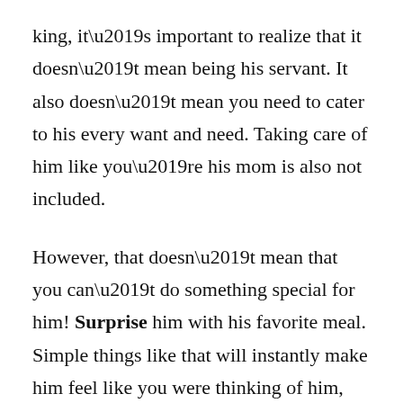king, it’s important to realize that it doesn’t mean being his servant. It also doesn’t mean you need to cater to his every want and need. Taking care of him like you’re his mom is also not included.
However, that doesn’t mean that you can’t do something special for him! Surprise him with his favorite meal. Simple things like that will instantly make him feel like you were thinking of him, which is how you treat a man like a king.